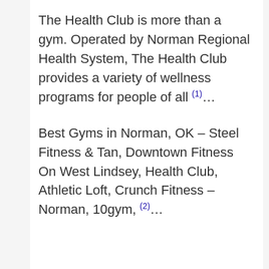The Health Club is more than a gym. Operated by Norman Regional Health System, The Health Club provides a variety of wellness programs for people of all (1)...
Best Gyms in Norman, OK – Steel Fitness & Tan, Downtown Fitness On West Lindsey, Health Club, Athletic Loft, Crunch Fitness – Norman, 10gym, (2)...